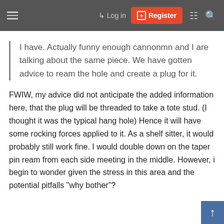Log in  Register
I have. Actually funny enough cannonmn and I are talking about the same piece. We have gotten advice to ream the hole and create a plug for it.
FWIW, my advice did not anticipate the added information here, that the plug will be threaded to take a tote stud. (I thought it was the typical hang hole) Hence it will have some rocking forces applied to it. As a shelf sitter, it would probably still work fine. I would double down on the taper pin ream from each side meeting in the middle. However, i begin to wonder given the stress in this area and the potential pitfalls "why bother"?